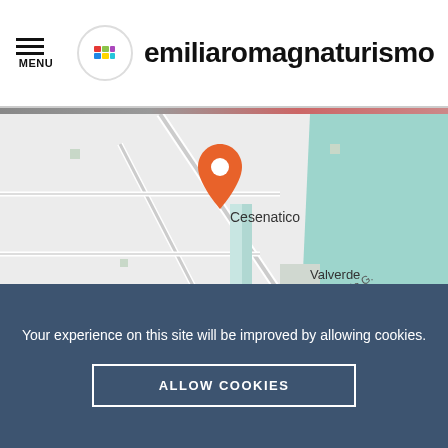MENU | emiliaromagnaturismo
[Figure (map): Map showing Cesenatico location on the Adriatic coast with an orange location pin marker. The map shows streets, the coastline with teal-colored sea, and labels for Cesenatico, Valverde, SS16, and Viale G.]
Your experience on this site will be improved by allowing cookies.
ALLOW COOKIES